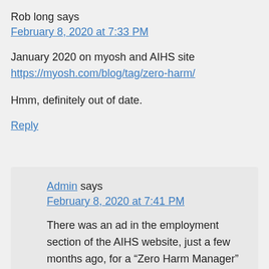Rob long says
February 8, 2020 at 7:33 PM
January 2020 on myosh and AIHS site
https://myosh.com/blog/tag/zero-harm/
Hmm, definitely out of date.
Reply
Admin says
February 8, 2020 at 7:41 PM
There was an ad in the employment section of the AIHS website, just a few months ago, for a “Zero Harm Manager”